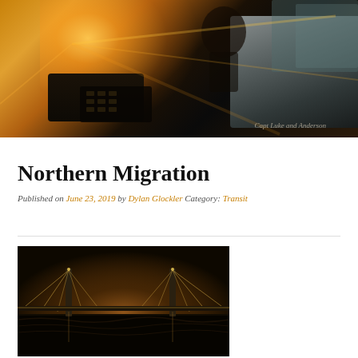[Figure (photo): Interior of a boat wheelhouse with warm golden sunlight and lens flare coming from the left, showing navigation controls and white seating. Watermark text reads 'Capt Luke and Anderson' in lower right area.]
Northern Migration
Published on June 23, 2019 by Dylan Glockler Category: Transit
[Figure (photo): Nighttime photo of a large suspension bridge (appears to be the Bay Bridge in San Francisco) illuminated against a dark orange-amber glowing sky, with dark choppy water in the foreground.]